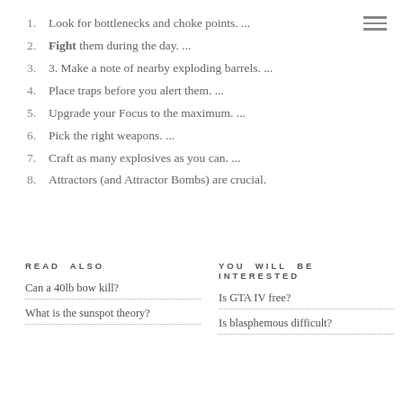1. Look for bottlenecks and choke points. ...
2. Fight them during the day. ...
3. 3. Make a note of nearby exploding barrels. ...
4. Place traps before you alert them. ...
5. Upgrade your Focus to the maximum. ...
6. Pick the right weapons. ...
7. Craft as many explosives as you can. ...
8. Attractors (and Attractor Bombs) are crucial.
READ ALSO
YOU WILL BE INTERESTED
Can a 40lb bow kill?
What is the sunspot theory?
Is GTA IV free?
Is blasphemous difficult?